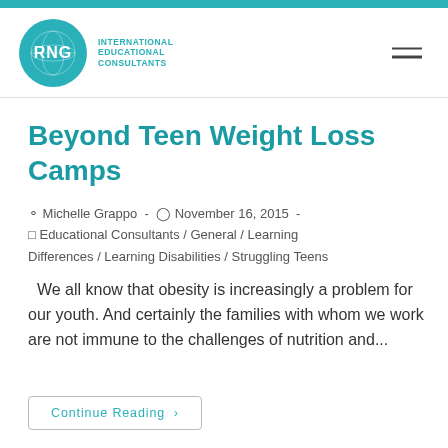[Figure (logo): RNG International Educational Consultants circular teal logo with globe icon and company name]
Beyond Teen Weight Loss Camps
Michelle Grappo  -  November 16, 2015  -  Educational Consultants / General / Learning Differences / Learning Disabilities / Struggling Teens
We all know that obesity is increasingly a problem for our youth. And certainly the families with whom we work are not immune to the challenges of nutrition and...
Continue Reading ›